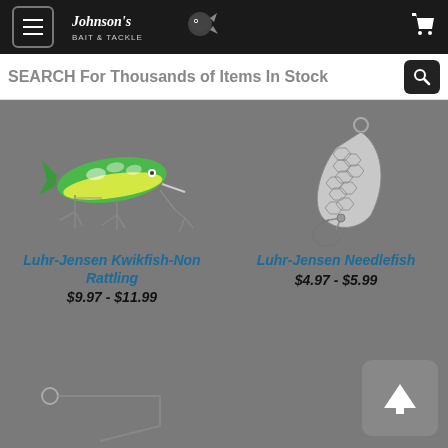Johnson's Bait & Tackle — navigation header with menu button, logo, and cart icon
SEARCH For Thousands of Items In Stock
[Figure (photo): Luhr-Jensen Kwikfish-Non Rattling fishing lure — green and yellow minnow-style crankbait with treble hooks]
Luhr-Jensen Kwikfish-Non Rattling
$9.97 - $11.99
[Figure (photo): Luhr-Jensen Needlefish fishing lure — silver metal spoon lure with honeycomb pattern and single hook]
Luhr-Jensen Needlefish
$4.97 - $5.99
[Figure (photo): Partial view of a third fishing lure at the bottom of the page — wire frame style hook]